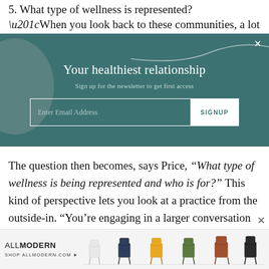5. What type of wellness is represented?
“When you look back to these communities, a lot of
[Figure (screenshot): Newsletter signup modal overlay with teal/dark green background. Title: 'Your healthiest relationship'. Subtitle: 'Sign up for the newsletter to get first access'. Email input field with SIGNUP button. Decorative circle shape on left and white wave on top right. Close X button top right.]
The question then becomes, says Price, “What type of wellness is being represented and who is for?” This kind of perspective lets you look at a practice from the outside-in. “You’re engaging in a larger conversation about reclaiming those spaces,” adds Price.
[Figure (screenshot): AllModern advertisement banner. Shows ALLMODERN logo with text SHOP ALLMODERN.COM and an arrow. Images of modern chairs in various colors (white, blue, yellow, green, brown) arranged on a white background.]